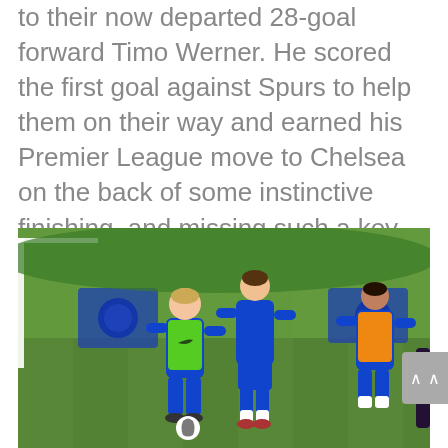to their now departed 28-goal forward Timo Werner. He scored the first goal against Spurs to help them on their way and earned his Premier League move to Chelsea on the back of some instinctive finishing, and missing such a key player is a hammer blow to their chances of progressing here.
[Figure (photo): Chelsea football players training on a grass pitch. One player wearing a green training bib over blue kit controls a ball, another player in all blue kit closes in, and a third player wearing an orange training bib is visible on the right side. A goalpost and Chelsea FC logo boards are visible in the background.]